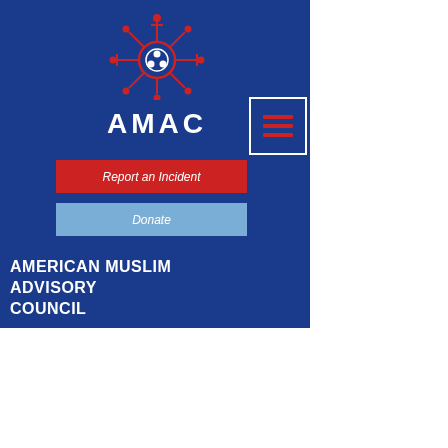[Figure (logo): AMAC logo - snowflake/people design with Tennessee state seal in center, red figures, blue background]
AMAC
[Figure (other): Hamburger menu button with three red horizontal lines, white border, on dark blue background]
[Figure (other): Red button labeled Report an Incident]
[Figure (other): Light blue button labeled Donate]
AMERICAN MUSLIM ADVISORY COUNCIL